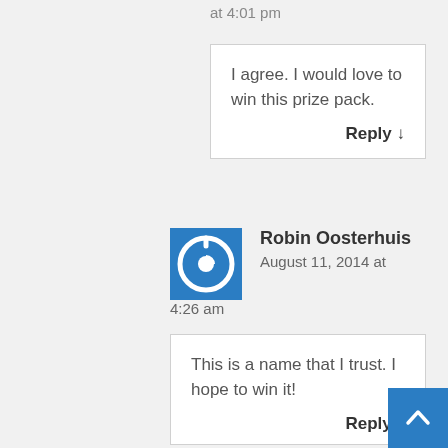at 4:01 pm
I agree. I would love to win this prize pack.
Reply ↓
Robin Oosterhuis
August 11, 2014 at 4:26 am
This is a name that I trust. I hope to win it!
Reply ↓